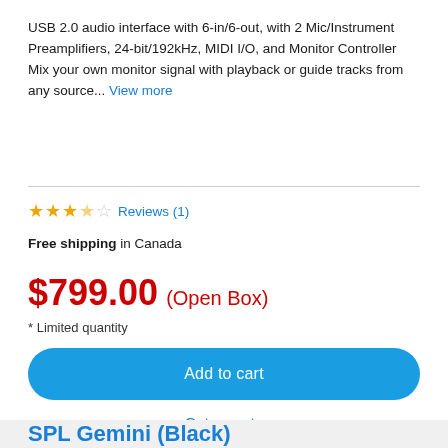USB 2.0 audio interface with 6-in/6-out, with 2 Mic/Instrument Preamplifiers, 24-bit/192kHz, MIDI I/O, and Monitor Controller Mix your own monitor signal with playback or guide tracks from any source... View more
★★★½☆ Reviews (1)
Free shipping in Canada
$799.00 (Open Box)
* Limited quantity
Add to cart
Get a quote
SPL Gemini (Black)